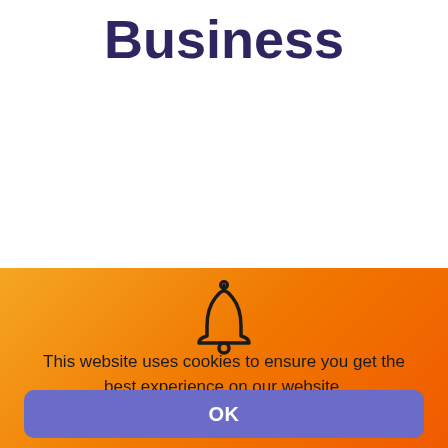Business
[Figure (illustration): Bell notification icon, outline style, dark stroke on orange gradient background]
This website uses cookies to ensure you get the best experience on our website.
OK